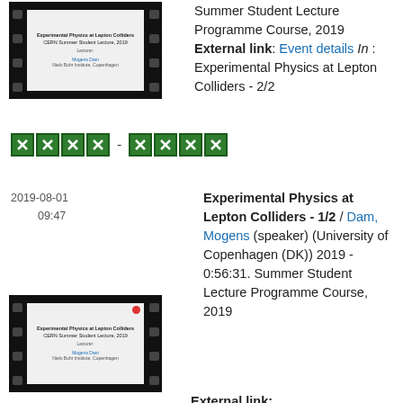[Figure (screenshot): Film strip thumbnail of lecture slide: Experimental Physics at Lepton Colliders, CERN Summer Student Lecture, 2019]
Summer Student Lecture Programme Course, 2019 External link: Event details In : Experimental Physics at Lepton Colliders - 2/2
[Figure (infographic): Four green icon squares, dash separator, four green icon squares]
2019-08-01
09:47
Experimental Physics at Lepton Colliders - 1/2 / Dam, Mogens (speaker) (University of Copenhagen (DK)) 2019 - 0:56:31. Summer Student Lecture Programme Course, 2019 External link:
[Figure (screenshot): Film strip thumbnail of lecture slide: Experimental Physics at Lepton Colliders, CERN Summer Student Lecture, 2019]